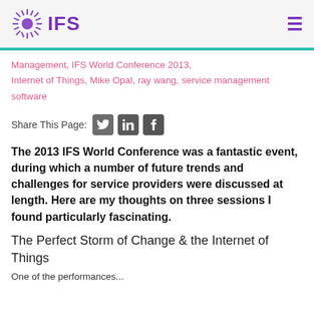IFS
Management, IFS World Conference 2013, Internet of Things, Mike Opal, ray wang, service management software
Share This Page:
The 2013 IFS World Conference was a fantastic event, during which a number of future trends and challenges for service providers were discussed at length.  Here are my thoughts on three sessions I found particularly fascinating.
The Perfect Storm of Change & the Internet of Things
One of the performances...